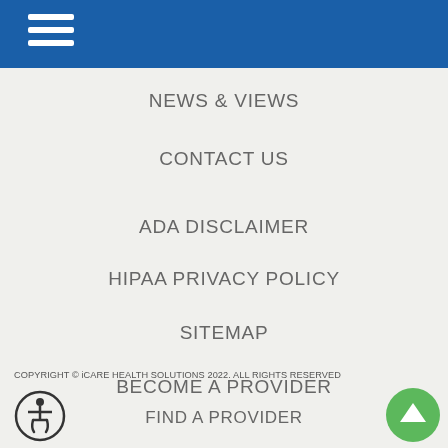NEWS & VIEWS
CONTACT US
ADA DISCLAIMER
HIPAA PRIVACY POLICY
SITEMAP
BECOME A PROVIDER
FIND A PROVIDER
SIGN IN
COPYRIGHT © iCARE HEALTH SOLUTIONS 2022. ALL RIGHTS RESERVED